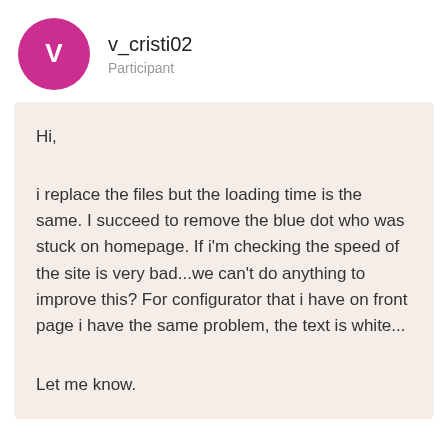[Figure (illustration): Magenta circular avatar with white letter V inside]
v_cristi02
Participant
Hi,
i replace the files but the loading time is the same. I succeed to remove the blue dot who was stuck on homepage. If i'm checking the speed of the site is very bad...we can't do anything to improve this? For configurator that i have on front page i have the same problem, the text is white...
Let me know.